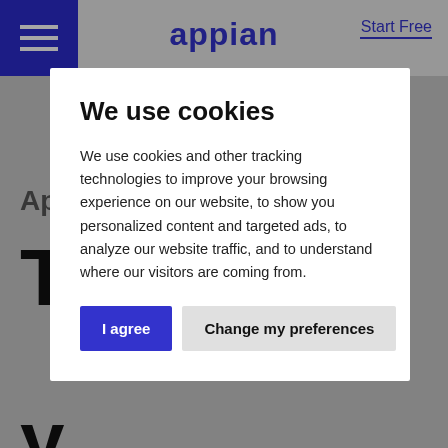appian  Start Free
We use cookies
We use cookies and other tracking technologies to improve your browsing experience on our website, to show you personalized content and targeted ads, to analyze our website traffic, and to understand where our visitors are coming from.
I agree   Change my preferences
employees or citizens is key. Appian Portals makes it easy to create external interfaces that deliver impressive user experiences at every step, and connect to your workflows and data